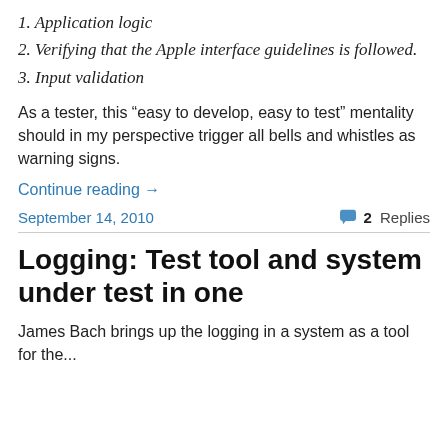1. Application logic
2. Verifying that the Apple interface guidelines is followed.
3. Input validation
As a tester, this “easy to develop, easy to test” mentality should in my perspective trigger all bells and whistles as warning signs.
Continue reading →
September 14, 2010
2 Replies
Logging: Test tool and system under test in one
James Bach brings up the logging in a system as a tool for the...